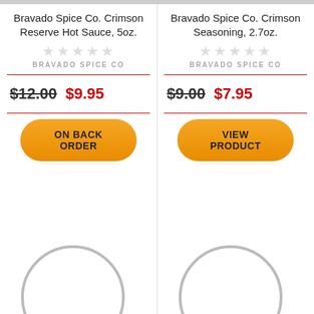Bravado Spice Co. Crimson Reserve Hot Sauce, 5oz.
★★★★★ (empty stars)
BRAVADO SPICE CO
$12.00 $9.95
ON BACK ORDER
Bravado Spice Co. Crimson Seasoning, 2.7oz.
★★★★★ (empty stars)
BRAVADO SPICE CO
$9.00 $7.95
VIEW PRODUCT